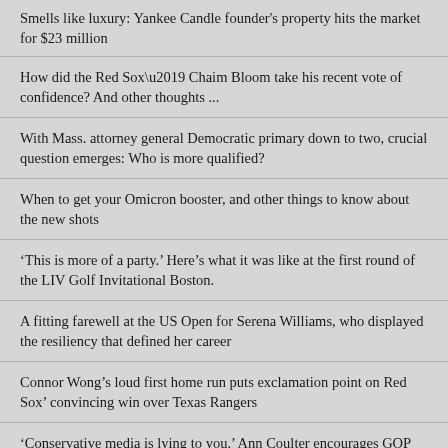Smells like luxury: Yankee Candle founder's property hits the market for $23 million
How did the Red Sox’ Chaim Bloom take his recent vote of confidence? And other thoughts ...
With Mass. attorney general Democratic primary down to two, crucial question emerges: Who is more qualified?
When to get your Omicron booster, and other things to know about the new shots
‘This is more of a party.’ Here’s what it was like at the first round of the LIV Golf Invitational Boston.
A fitting farewell at the US Open for Serena Williams, who displayed the resiliency that defined her career
Connor Wong’s loud first home run puts exclamation point on Red Sox’ convincing win over Texas Rangers
‘Conservative media is lying to you.’ Ann Coulter encourages GOP split from Trump